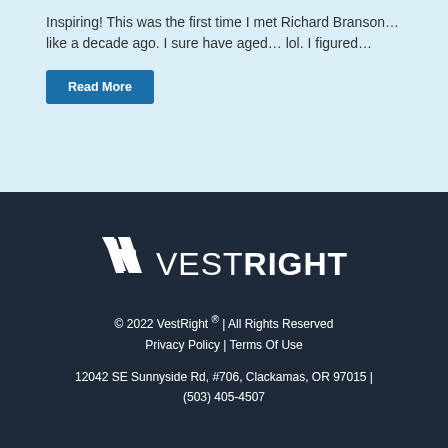Inspiring! This was the first time I met Richard Branson… like a decade ago. I sure have aged… lol. I figured…
Read More
[Figure (logo): VestRight logo — a white geometric VR monogram icon followed by the text VESTRIGHT in white uppercase letters]
© 2022 VestRight ® | All Rights Reserved
Privacy Policy | Terms Of Use
12042 SE Sunnyside Rd, #706, Clackamas, OR 97015 | (503) 405-4507